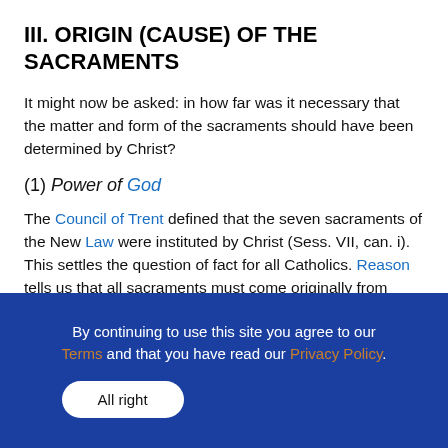III. ORIGIN (CAUSE) OF THE SACRAMENTS
It might now be asked: in how far was it necessary that the matter and form of the sacraments should have been determined by Christ?
(1) Power of God
The Council of Trent defined that the seven sacraments of the New Law were instituted by Christ (Sess. VII, can. i). This settles the question of fact for all Catholics. Reason tells us that all sacraments must come originally from God. Since they are the signs of
By continuing to use this site you agree to our Terms and that you have read our Privacy Policy. All right